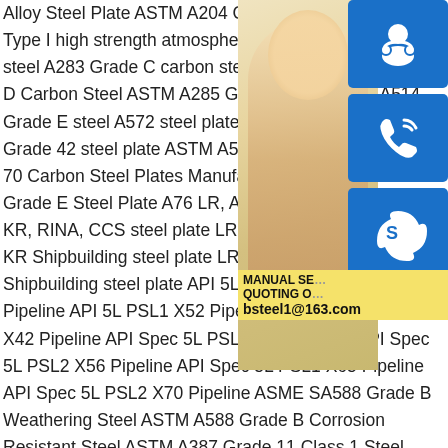Alloy Steel Plate ASTM A204 Grade B Steel Plate A242 Type I high strength atmospheric corrosion resisting steel A283 Grade C carbon steel plate STM A283 Grade D Carbon Steel ASTM A285 Grade C steel plate A514 Grade E steel A572 steel plate ASTM A572/A572M A572 Grade 42 steel plate ASTM A572 Grade 55 HSLA Grade 70 Carbon Steel Plates Manufacturer Steel ASTM A633 Grade E Steel Plate A76 LR, ABS, NK, GL, DNV, BV, KR, RINA, CCS steel plate LR, ABS, NK, GL, DNV, BV, KR Shipbuilding steel plate LR, ABS, NK, GL, CCS AH40 Shipbuilding steel plate API 5L API 5L X60 PSL2 Pipeline API 5L PSL1 X52 Pipeline API Spec 5L PSL1 X42 Pipeline API Spec 5L PSL1 X65 Pipeline API Spec 5L PSL2 X56 Pipeline API Spec 5L PSL1 X65 Pipeline API Spec 5L PSL2 X70 Pipeline ASME SA588 Grade B Weathering Steel ASTM A588 Grade B Corrosion Resistant Steel ASTM A387 Grade 11 Class 1 Steel ASTM A387 Grade 11 Class 2 Steel ASTM
[Figure (photo): A customer service representative (woman with headset) with blue contact icons for chat, phone, and Skype overlaid on the right side, plus a yellow bar showing MANUAL SERVICE, QUOTING ON, and bsteel1@163.com]